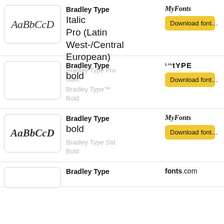[Figure (screenshot): Font listing page showing Bradley Type font variants with preview boxes, font names, styles, and download buttons from font providers (MyFonts, Linotype, MyFonts, fonts.com)]
Bradley Type Italic Pro (Latin West-/Central European)
Bradley Type Pro Italic
Download font...
Bradley Type bold
Bradley Type™ Bold
Download font...
Bradley Type bold
Bradley Type Std Bold
Download font...
Bradley Type